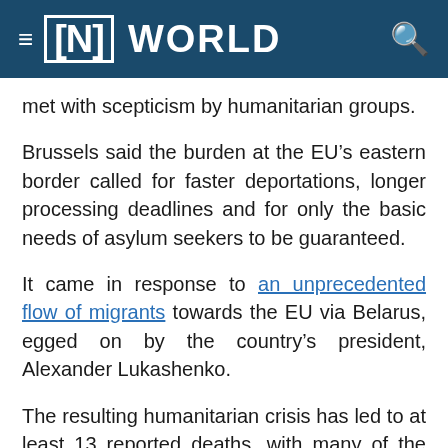[N] WORLD
met with scepticism by humanitarian groups.
Brussels said the burden at the EU's eastern border called for faster deportations, longer processing deadlines and for only the basic needs of asylum seekers to be guaranteed.
It came in response to an unprecedented flow of migrants towards the EU via Belarus, egged on by the country's president, Alexander Lukashenko.
The resulting humanitarian crisis has led to at least 13 reported deaths, with many of the mainly Iraqi, Afghan and Syrian migrants left in limbo as winter draws in.